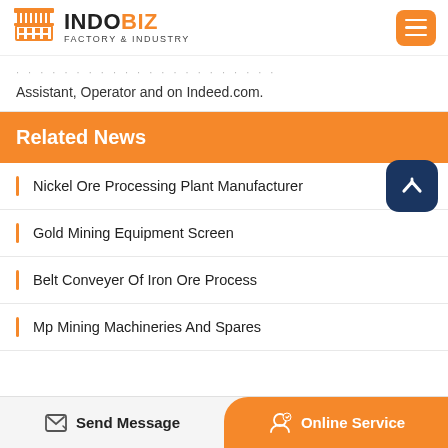INDOBIZ FACTORY & INDUSTRY
Assistant, Operator and on Indeed.com.
Related News
Nickel Ore Processing Plant Manufacturer
Gold Mining Equipment Screen
Belt Conveyer Of Iron Ore Process
Mp Mining Machineries And Spares
Send Message   Online Service